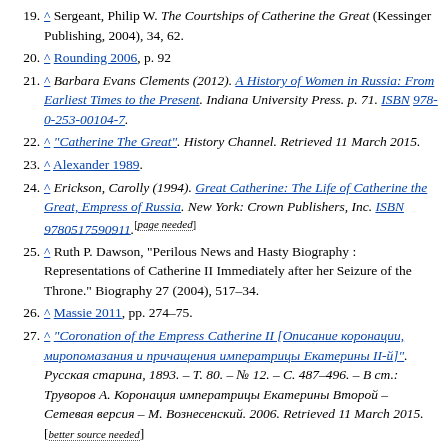19. ^ Sergeant, Philip W. The Courtships of Catherine the Great (Kessinger Publishing, 2004), 34, 62.
20. ^ Rounding 2006, p. 92
21. ^ Barbara Evans Clements (2012). A History of Women in Russia: From Earliest Times to the Present. Indiana University Press. p. 71. ISBN 978-0-253-00104-7.
22. ^ "Catherine The Great". History Channel. Retrieved 11 March 2015.
23. ^ Alexander 1989.
24. ^ Erickson, Carolly (1994). Great Catherine: The Life of Catherine the Great, Empress of Russia. New York: Crown Publishers, Inc. ISBN 9780517590911. [page needed]
25. ^ Ruth P. Dawson, "Perilous News and Hasty Biography : Representations of Catherine II Immediately after her Seizure of the Throne." Biography 27 (2004), 517–34.
26. ^ Massie 2011, pp. 274–75.
27. ^ "Coronation of the Empress Catherine II [Описание коронации, миропомазания и причащения императрицы Екатерины II-й]". Русская старина, 1893. – Т. 80. – № 12. – С. 487–496. – В ст.: Труворов А. Коронация императрицы Екатерины Второй – Сетевая версия – М. Вознесенский. 2006. Retrieved 11 March 2015. [better source needed]
28. ^ "The Russian Crown Jewels". Famousdiamonds.tripod.com. Archived from the original on